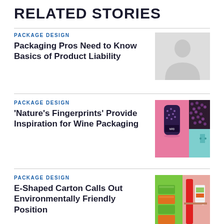RELATED STORIES
PACKAGE DESIGN
Packaging Pros Need to Know Basics of Product Liability
[Figure (photo): Greyscale portrait placeholder image of a person]
PACKAGE DESIGN
'Nature's Fingerprints' Provide Inspiration for Wine Packaging
[Figure (photo): Pink background with dark purple patterned can and teal/mint color swatch panels showing wine packaging design]
PACKAGE DESIGN
E-Shaped Carton Calls Out Environmentally Friendly Position
[Figure (photo): Colorful green, orange, and red E-Cloth shaped environmentally friendly carton packaging product display]